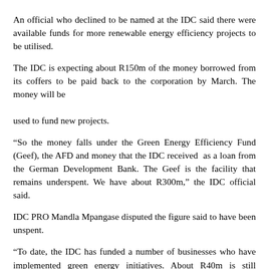An official who declined to be named at the IDC said there were available funds for more renewable energy efficiency projects to be utilised.
The IDC is expecting about R150m of the money borrowed from its coffers to be paid back to the corporation by March. The money will be used to fund new projects.
“So the money falls under the Green Energy Efficiency Fund (Geef), the AFD and money that the IDC received as a loan from the German Development Bank. The Geef is the facility that remains underspent. We have about R300m,” the IDC official said.
IDC PRO Mandla Mpangase disputed the figure said to have been unspent.
“To date, the IDC has funded a number of businesses who have implemented green energy initiatives. About R40m is still available. We also to review our committed funds in energy efficiency projects that